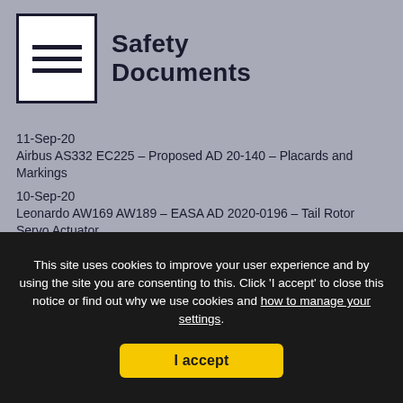Safety Documents
11-Sep-20
Airbus AS332 EC225 – Proposed AD 20-140 – Placards and Markings
10-Sep-20
Leonardo AW169 AW189 – EASA AD 2020-0196 – Tail Rotor Servo Actuator
04-Sep-20
Leonardo AW139 – EASA AD 2020-0191 : Equipment / Furnishings
04-Sep-20
This site uses cookies to improve your user experience and by using the site you are consenting to this. Click 'I accept' to close this notice or find out why we use cookies and how to manage your settings.